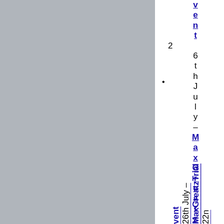[Figure (photo): Gray rectangle placeholder image on the left side of the page]
vent 26th July – MaxGreatzTrial 22n
22n